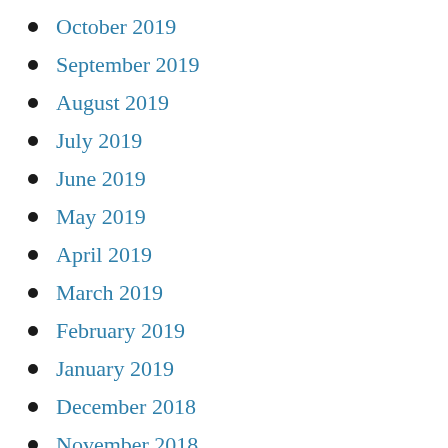October 2019
September 2019
August 2019
July 2019
June 2019
May 2019
April 2019
March 2019
February 2019
January 2019
December 2018
November 2018